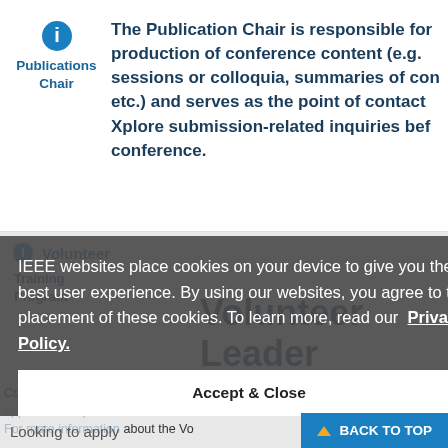The Publication Chair is responsible for the production of conference content (e.g. special sessions or colloquia, summaries of conference, etc.) and serves as the point of contact for IEEE Xplore submission-related inquiries before the conference.
Publications Chair
Volunteer
Training Program
Volunteer Leader Program
Prerequisite Courses
IEEE websites place cookies on your device to give you the best user experience. By using our websites, you agree to the placement of these cookies. To learn more, read our Privacy Policy.
Accept & Close
Completion of the courses below (except application requirement for the Volunteer Leadership Program. For more information about the Vo
Looking to apply
BACK TO TOP